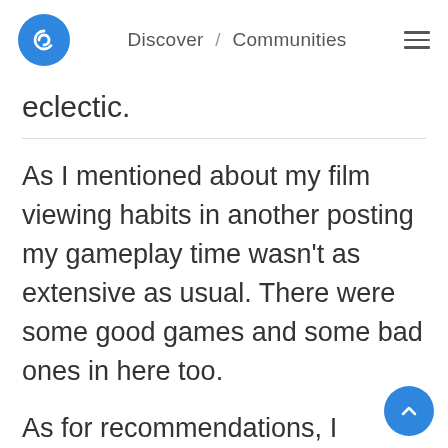Discover / Communities
eclectic.
As I mentioned about my film viewing habits in another posting my gameplay time wasn't as extensive as usual. There were some good games and some bad ones in here too.
As for recommendations, I always enjoy the Metroidvania type games. Ori, Axiom Verge and Blaster Master games were my favorite. Once in awhile I'll get terribly stuck as usual but that always happens at some point.